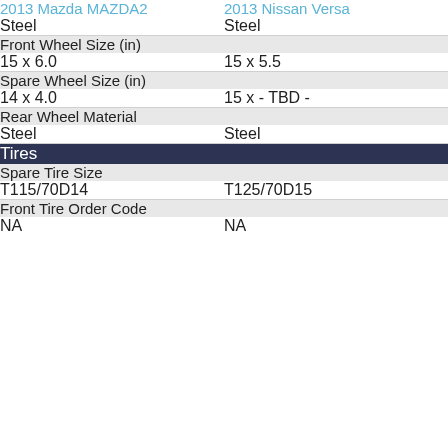| 2013 Mazda MAZDA2 | 2013 Nissan Versa |
| --- | --- |
| Steel | Steel |
| Front Wheel Size (in) |  |
| 15 x 6.0 | 15 x 5.5 |
| Spare Wheel Size (in) |  |
| 14 x 4.0 | 15 x - TBD - |
| Rear Wheel Material |  |
| Steel | Steel |
| Tires |  |
| Spare Tire Size |  |
| T115/70D14 | T125/70D15 |
| Front Tire Order Code |  |
| NA | NA |